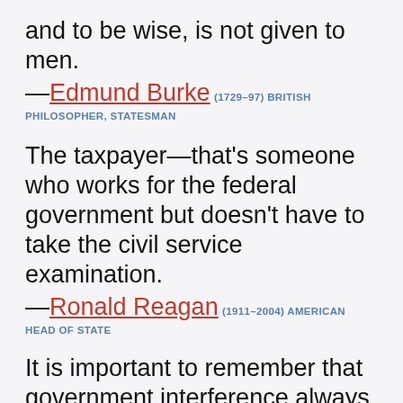and to be wise, is not given to men.
—Edmund Burke (1729–97) BRITISH PHILOSOPHER, STATESMAN
The taxpayer—that's someone who works for the federal government but doesn't have to take the civil service examination.
—Ronald Reagan (1911–2004) AMERICAN HEAD OF STATE
It is important to remember that government interference always means either violent action or the threat of such action. The funds that a government spends for whatever purposes are levied by taxation. And taxes are paid because the taxpayers are afraid of offering resistance to the tax gatherers. They